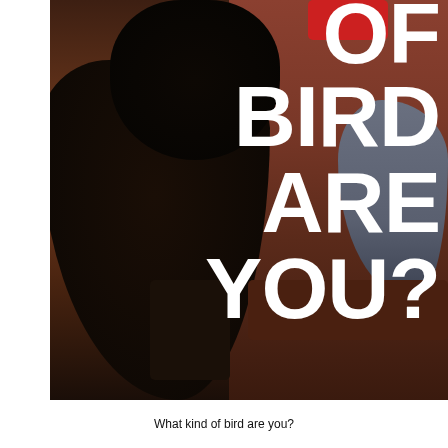[Figure (photo): Photo of a young woman in a black outfit sitting in what appears to be a cafeteria or restaurant. Other people are visible in the background. Large white bold text overlaid on the right side reads 'OF BIRD ARE YOU?']
OF BIRD ARE YOU?
What kind of bird are you? (partial text visible at bottom)